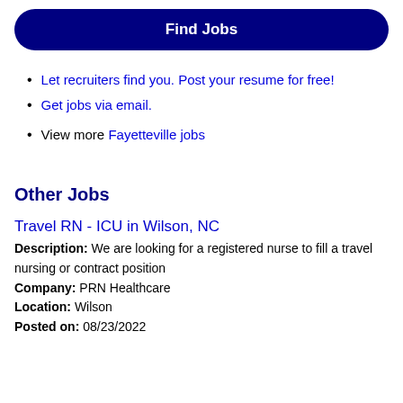Find Jobs
Let recruiters find you. Post your resume for free!
Get jobs via email.
View more Fayetteville jobs
Other Jobs
Travel RN - ICU in Wilson, NC
Description: We are looking for a registered nurse to fill a travel nursing or contract position
Company: PRN Healthcare
Location: Wilson
Posted on: 08/23/2022